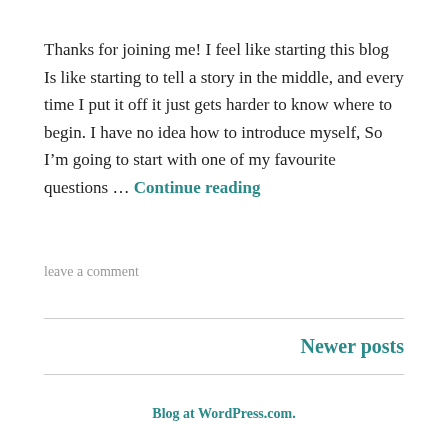Thanks for joining me! I feel like starting this blog Is like starting to tell a story in the middle, and every time I put it off it just gets harder to know where to begin. I have no idea how to introduce myself, So I'm going to start with one of my favourite questions … Continue reading
leave a comment
Newer posts
Blog at WordPress.com.